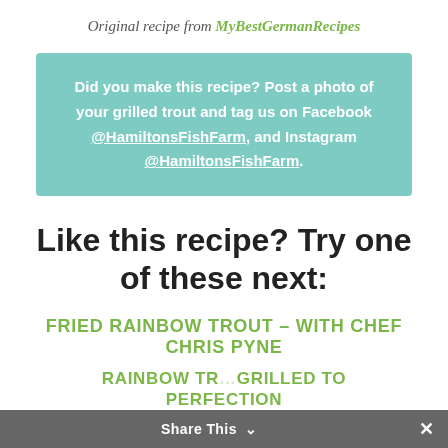Original recipe from MyBestGermanRecipes
Did you make this recipe? Post a photo of your grilled trout and tag us on Facebook @HamiltonsFishFarm, and Instagram @HamiltonsFishFarm.
Like this recipe? Try one of these next:
FRIED RAINBOW TROUT – WITH CHEF CHRIS PYNE
RAINBOW TROUT GRILLED TO PERFECTION
Share This